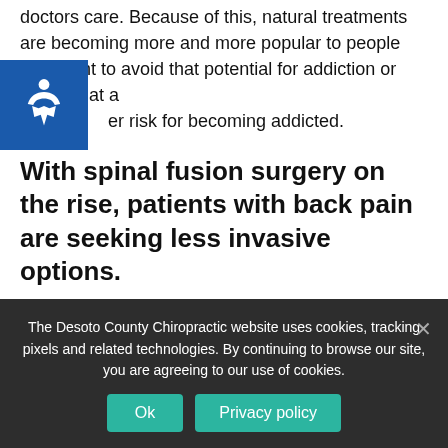doctors care. Because of this, natural treatments are becoming more and more popular to people who want to avoid that potential for addiction or who are at a higher risk for becoming addicted.
With spinal fusion surgery on the rise, patients with back pain are seeking less invasive options.
Spinal fusion surgery has been on a steep rise, increasing by 500% in recent years. Many patients are choosing to seek out natural treatments like chiropractic in order to avoid a surgery this drastic. It
The Desoto County Chiropractic website uses cookies, tracking pixels and related technologies. By continuing to browse our site, you are agreeing to our use of cookies.
Ok
Privacy policy